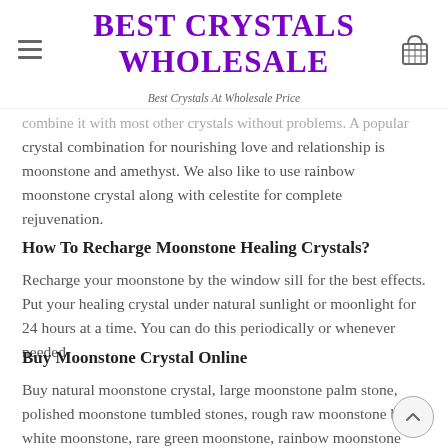BEST CRYSTALS WHOLESALE
Best Crystals At Wholesale Price
combine it with most other crystals without problems. A popular crystal combination for nourishing love and relationship is moonstone and amethyst. We also like to use rainbow moonstone crystal along with celestite for complete rejuvenation.
How To Recharge Moonstone Healing Crystals?
Recharge your moonstone by the window sill for the best effects. Put your healing crystal under natural sunlight or moonlight for 24 hours at a time. You can do this periodically or whenever needed.
Buy Moonstone Crystal Online
Buy natural moonstone crystal, large moonstone palm stone, polished moonstone tumbled stones, rough raw moonstone bead, white moonstone, rare green moonstone, rainbow moonstone crystals, pink moonstone, bulk moonstone beads and moonstone